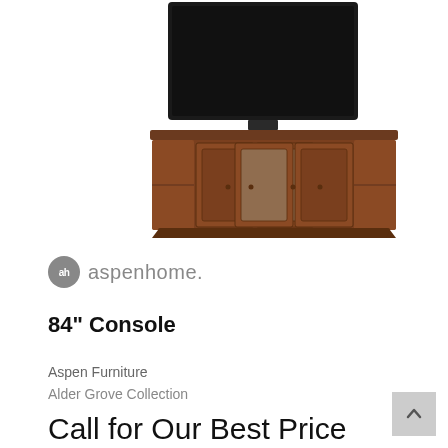[Figure (photo): A dark brown wood TV console with four cabinet doors (two with glass panels in center) and open shelves on each side, with a large flat-screen television sitting on top.]
[Figure (logo): Aspenhome logo — a circular badge with 'ah' text followed by 'aspenhome.' wordmark in gray.]
84" Console
Aspen Furniture
Alder Grove Collection
Call for Our Best Price